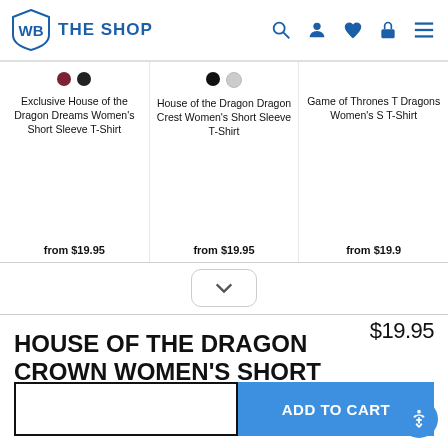WB THE SHOP
Exclusive House of the Dragon Dreams Women's Short Sleeve T-Shirt
from $19.95
House of the Dragon Dragon Crest Women's Short Sleeve T-Shirt
from $19.95
Game of Thrones T Dragons Women's S T-Shirt
from $19.9
HOUSE OF THE DRAGON CROWN WOMEN'S SHORT SLEEVE T-SHIRT
$19.95
ADD TO CART